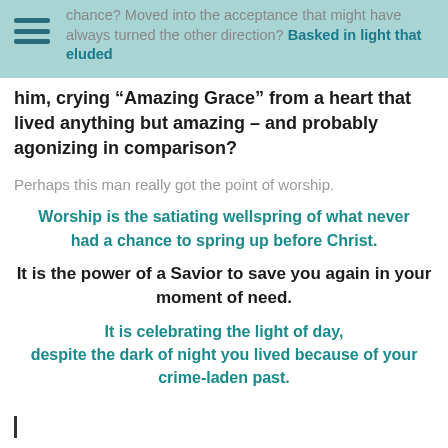chance? Moved into the acceptance that might have always turned the other direction? Basked in light that eluded
him, crying “Amazing Grace” from a heart that lived anything but amazing – and probably agonizing in comparison?
Perhaps this man really got the point of worship.
Worship is the satiating wellspring of what never had a chance to spring up before Christ.
It is the power of a Savior to save you again in your moment of need.
It is celebrating the light of day, despite the dark of night you lived because of your crime-laden past.